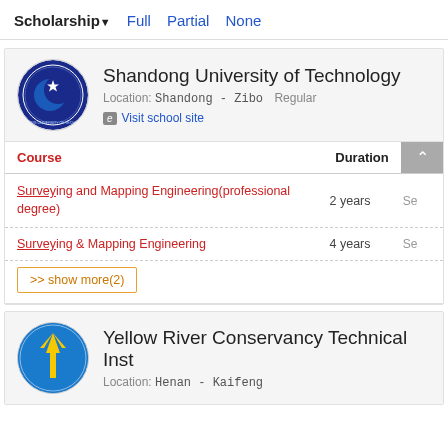Scholarship  Full  Partial  None
Shandong University of Technology
Location: Shandong - Zibo  Regular
Visit school site
| Course | Duration |
| --- | --- |
| Surveying and Mapping Engineering(professional degree) | 2 years |
| Surveying & Mapping Engineering | 4 years |
>> show more(2)
Yellow River Conservancy Technical Inst
Location: Henan - Kaifeng